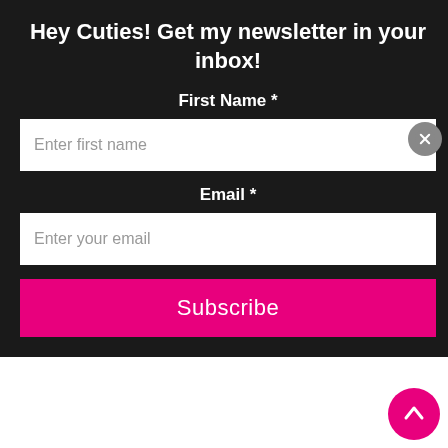Hey Cuties! Get my newsletter in your inbox!
First Name *
Enter first name
Email *
Enter your email
Subscribe
...and you had a great time! The desire to have a slumber party with my own cousins now!!
MIMICUTELIPS says
FEBRUARY 1, 2018 AT 10:44 AM
[Figure (photo): Circular avatar photo of a woman with short hair, glasses, wearing a white top]
It was the best slumber party ever. Now I